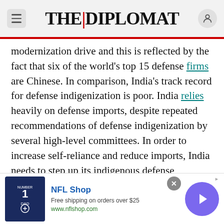THE DIPLOMAT
modernization drive and this is reflected by the fact that six of the world's top 15 defense firms are Chinese. In comparison, India's track record for defense indigenization is poor. India relies heavily on defense imports, despite repeated recommendations of defense indigenization by several high-level committees. In order to increase self-reliance and reduce imports, India needs to step up its indigenous defense development by incentivizing the private sector to develop and manufacture weapon systems. A key strategy of China's modernization has been the use of its civilian sectors for enhancing its defense
[Figure (screenshot): NFL Shop advertisement banner with a Dallas Cowboys jersey image, text 'NFL Shop - Free shipping on orders over $25 - www.nflshop.com', a close button, and a purple arrow navigation button]